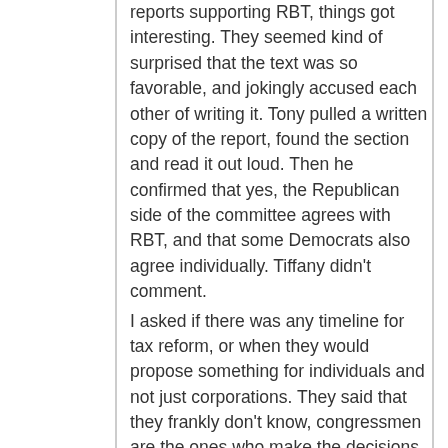reports supporting RBT, things got interesting. They seemed kind of surprised that the text was so favorable, and jokingly accused each other of writing it. Tony pulled a written copy of the report, found the section and read it out loud. Then he confirmed that yes, the Republican side of the committee agrees with RBT, and that some Democrats also agree individually. Tiffany didn't comment.
I asked if there was any timeline for tax reform, or when they would propose something for individuals and not just corporations. They said that they frankly don't know, congressmen are the ones who make the decisions. So I asked what we could do for congressmen to see this with a higher priority, but they didn't really gave an answer. But Tony said that there is a real possibility for international tax reform on its own, perhaps even this year, and that individuals could be included. Again, no promise, but a possibility.
Eric asked Tiffany if the president's budget proposal had anything for Americans abroad, and she wasn't aware. I answered that there was